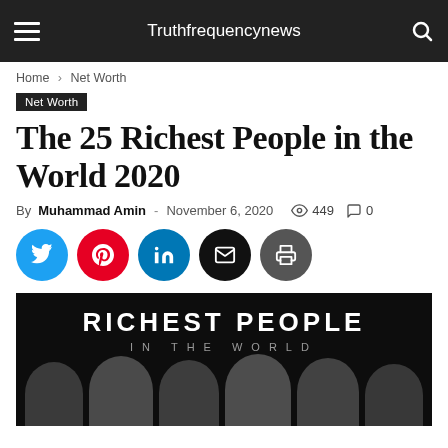Truthfrequencynews
Home › Net Worth
Net Worth
The 25 Richest People in the World 2020
By Muhammad Amin - November 6, 2020  449  0
[Figure (illustration): Social sharing buttons: Twitter (blue), Pinterest (red), LinkedIn (blue), Email (black), Print (dark gray)]
[Figure (photo): Dark image with text 'RICHEST PEOPLE IN THE WORLD' and faces of wealthy individuals at the bottom]